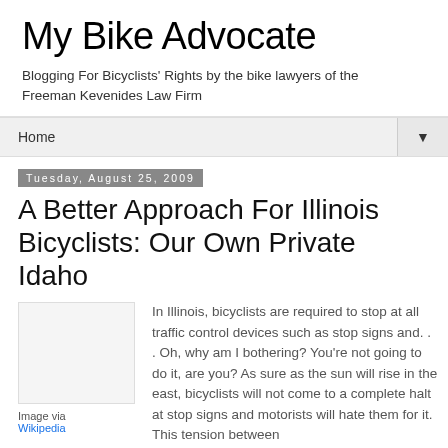My Bike Advocate
Blogging For Bicyclists' Rights by the bike lawyers of the Freeman Kevenides Law Firm
Home ▼
Tuesday, August 25, 2009
A Better Approach For Illinois Bicyclists: Our Own Private Idaho
[Figure (photo): Image placeholder with caption: Image via Wikipedia]
In Illinois, bicyclists are required to stop at all traffic control devices such as stop signs and. . . Oh, why am I bothering? You're not going to do it, are you? As sure as the sun will rise in the east, bicyclists will not come to a complete halt at stop signs and motorists will hate them for it. This tension between